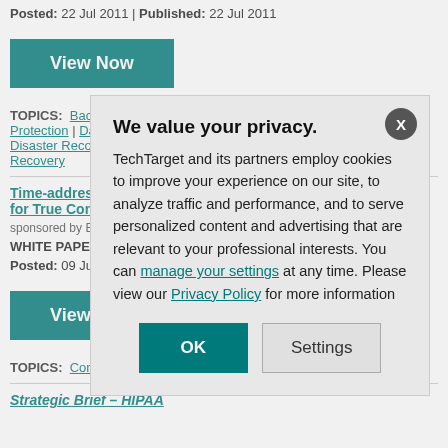Posted: 22 Jul 2011 | Published: 22 Jul 2011
[Figure (other): View Now button (teal/green background, white bold text)]
TOPICS: Backup for Virtualized Servers | Backups | Continuous Data Protection | Data Recovery | Disaster Recovery | SAN | Server Virtualization | VMware Disaster Recovery
Time-addressable and ... for True Continuous D...
sponsored by Excel...
WHITE PAPER: This... addressable through... offers complete syst...
Posted: 09 Jun 200...
[Figure (other): View Now button (teal/green background, white bold text)]
TOPICS: Continuous D...
Strategic Brief – HIPAA
We value your privacy. TechTarget and its partners employ cookies to improve your experience on our site, to analyze traffic and performance, and to serve personalized content and advertising that are relevant to your professional interests. You can manage your settings at any time. Please view our Privacy Policy for more information
[Figure (other): OK button and Settings button in modal dialog]